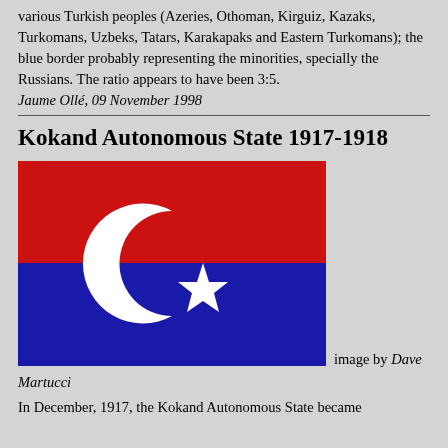various Turkish peoples (Azeries, Othoman, Kirguiz, Kazaks, Turkomans, Uzbeks, Tatars, Karakapaks and Eastern Turkomans); the blue border probably representing the minorities, specially the Russians. The ratio appears to have been 3:5.
Jaume Ollé, 09 November 1998
Kokand Autonomous State 1917-1918
[Figure (illustration): Flag of the Kokand Autonomous State: horizontally divided red (top) and dark blue (bottom) with a white crescent moon and star in the center.]
image by Dave Martucci
In December, 1917, the Kokand Autonomous State became